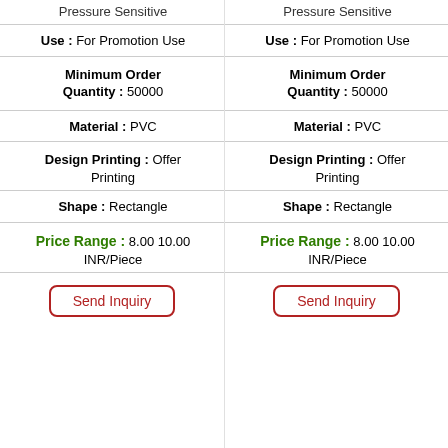Pressure Sensitive
Use : For Promotion Use
Minimum Order Quantity : 50000
Material : PVC
Design Printing : Offer Printing
Shape : Rectangle
Price Range : 8.00 10.00 INR/Piece
Send Inquiry
Pressure Sensitive
Use : For Promotion Use
Minimum Order Quantity : 50000
Material : PVC
Design Printing : Offer Printing
Shape : Rectangle
Price Range : 8.00 10.00 INR/Piece
Send Inquiry